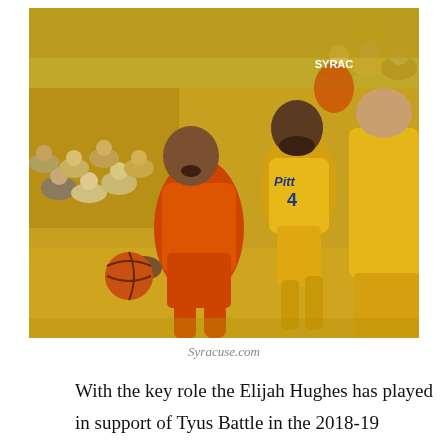[Figure (photo): A basketball game action shot showing a Syracuse player in orange jersey driving to the basket while two Pittsburgh players in yellow jerseys defend. A crowd in yellow is visible in the background. The Pitt player wearing number 4 is visible in the center.]
Syracuse.com
With the key role the Elijah Hughes has played in support of Tyus Battle in the 2018-19 campaign, Brissett has seen his numbers take a hit from his freshman to his sophomore season. Make no mistake, Brissett is still a key cog in the Orange machine. The